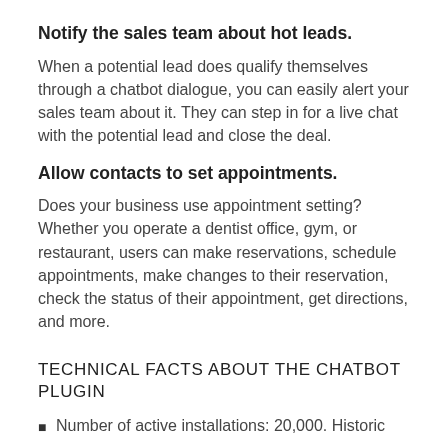Notify the sales team about hot leads.
When a potential lead does qualify themselves through a chatbot dialogue, you can easily alert your sales team about it. They can step in for a live chat with the potential lead and close the deal.
Allow contacts to set appointments.
Does your business use appointment setting? Whether you operate a dentist office, gym, or restaurant, users can make reservations, schedule appointments, make changes to their reservation, check the status of their appointment, get directions, and more.
TECHNICAL FACTS ABOUT THE CHATBOT PLUGIN
Number of active installations: 20,000. Historic installations: 815,000